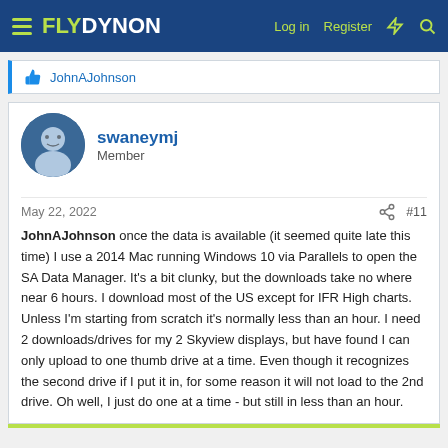FLY DYNON — Log in  Register
JohnAJohnson
swaneymj
Member
May 22, 2022  #11
JohnAJohnson once the data is available (it seemed quite late this time) I use a 2014 Mac running Windows 10 via Parallels to open the SA Data Manager. It's a bit clunky, but the downloads take no where near 6 hours. I download most of the US except for IFR High charts. Unless I'm starting from scratch it's normally less than an hour. I need 2 downloads/drives for my 2 Skyview displays, but have found I can only upload to one thumb drive at a time. Even though it recognizes the second drive if I put it in, for some reason it will not load to the 2nd drive. Oh well, I just do one at a time - but still in less than an hour.